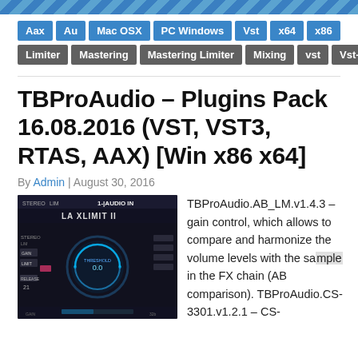[Figure (screenshot): Diagonal blue striped banner bar at the top of the page]
Aax
Au
Mac OSX
PC Windows
Vst
x64
x86
Limiter
Mastering
Mastering Limiter
Mixing
vst
Vst-Fx
TBProAudio – Plugins Pack 16.08.2016 (VST, VST3, RTAS, AAX) [Win x86 x64]
By Admin | August 30, 2016
[Figure (screenshot): Screenshot of LA XLIMIT II audio plugin UI with dark background, blue circular meter showing THRESHOLD 0.0, and various controls]
TBProAudio.AB_LM.v1.4.3 – gain control, which allows to compare and harmonize the volume levels with the sample in the FX chain (AB comparison). TBProAudio.CS-3301.v1.2.1 – CS-